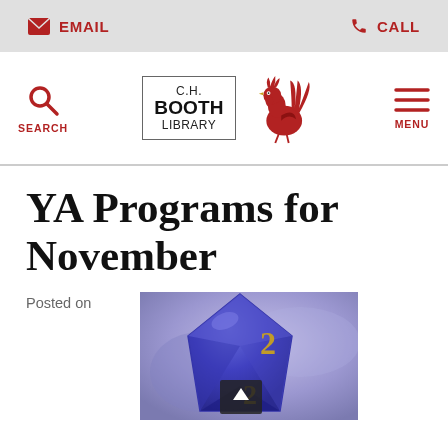EMAIL   CALL
[Figure (logo): C.H. Booth Library logo with red rooster, search icon and menu icon navigation bar]
YA Programs for November
Posted on
[Figure (photo): Close-up photo of a blue polyhedral dice (d20) with gold numbers on a blurred purple background]